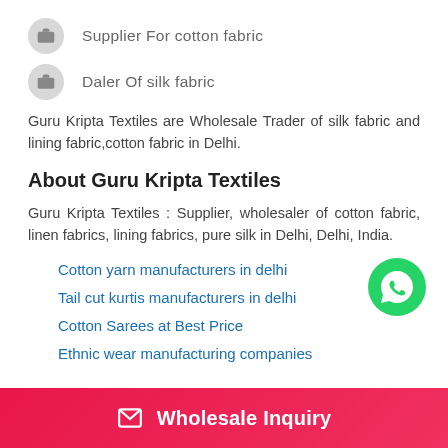Supplier For cotton fabric
Daler Of silk fabric
Guru Kripta Textiles are Wholesale Trader of silk fabric and lining fabric,cotton fabric in Delhi.
About Guru Kripta Textiles
Guru Kripta Textiles : Supplier, wholesaler of cotton fabric, linen fabrics, lining fabrics, pure silk in Delhi, Delhi, India.
Cotton yarn manufacturers in delhi
Tail cut kurtis manufacturers in delhi
Cotton Sarees at Best Price
Ethnic wear manufacturing companies
Wholesale Inquiry